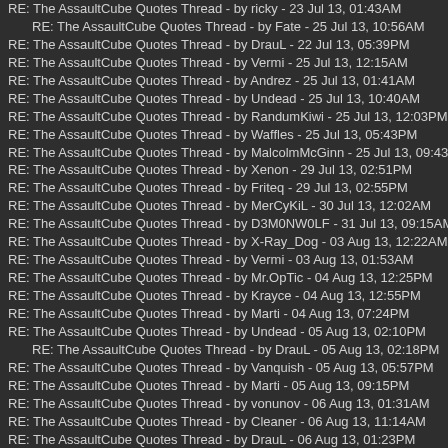RE: The AssaultCube Quotes Thread - by ricky - 23 Jul 13, 01:43AM
RE: The AssaultCube Quotes Thread - by Fate - 25 Jul 13, 10:56AM
RE: The AssaultCube Quotes Thread - by DrauL - 22 Jul 13, 05:39PM
RE: The AssaultCube Quotes Thread - by Vermi - 25 Jul 13, 12:15AM
RE: The AssaultCube Quotes Thread - by Andrez - 25 Jul 13, 01:41AM
RE: The AssaultCube Quotes Thread - by Undead - 25 Jul 13, 10:40AM
RE: The AssaultCube Quotes Thread - by RandumKiwi - 25 Jul 13, 12:03PM
RE: The AssaultCube Quotes Thread - by Waffles - 25 Jul 13, 05:43PM
RE: The AssaultCube Quotes Thread - by MalcolmMcGinn - 25 Jul 13, 09:43PM
RE: The AssaultCube Quotes Thread - by Xenon - 29 Jul 13, 02:51PM
RE: The AssaultCube Quotes Thread - by Friteq - 29 Jul 13, 02:55PM
RE: The AssaultCube Quotes Thread - by MerCyKiL - 30 Jul 13, 12:02AM
RE: The AssaultCube Quotes Thread - by D3M0NW0LF - 31 Jul 13, 09:15AM
RE: The AssaultCube Quotes Thread - by X-Ray_Dog - 03 Aug 13, 12:22AM
RE: The AssaultCube Quotes Thread - by Vermi - 03 Aug 13, 01:53AM
RE: The AssaultCube Quotes Thread - by Mr.OpTic - 04 Aug 13, 12:25PM
RE: The AssaultCube Quotes Thread - by Krayce - 04 Aug 13, 12:55PM
RE: The AssaultCube Quotes Thread - by Marti - 04 Aug 13, 07:24PM
RE: The AssaultCube Quotes Thread - by Undead - 05 Aug 13, 02:10PM
RE: The AssaultCube Quotes Thread - by DrauL - 05 Aug 13, 02:18PM
RE: The AssaultCube Quotes Thread - by Vanquish - 05 Aug 13, 05:57PM
RE: The AssaultCube Quotes Thread - by Marti - 05 Aug 13, 09:15PM
RE: The AssaultCube Quotes Thread - by vonunov - 06 Aug 13, 01:31AM
RE: The AssaultCube Quotes Thread - by Cleaner - 06 Aug 13, 11:14AM
RE: The AssaultCube Quotes Thread - by DrauL - 06 Aug 13, 01:23PM